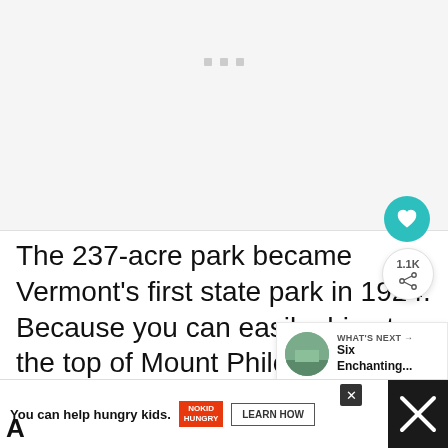[Figure (photo): Image placeholder / carousel area (photo not loaded), light gray background with three small gray square dots near the top center indicating a slideshow indicator.]
The 237-acre park became Vermont's first state park in 1924. Because you can easily drive to the top of Mount Philo, this is a perfect spot for picnicking.
[Figure (screenshot): WHAT'S NEXT panel: thumbnail of a scenic landscape, label 'WHAT'S NEXT →', title text 'Six Enchanting...']
[Figure (screenshot): Advertisement banner: 'You can help hungry kids.' with No Kid Hungry logo and LEARN HOW button. Close (×) button visible.]